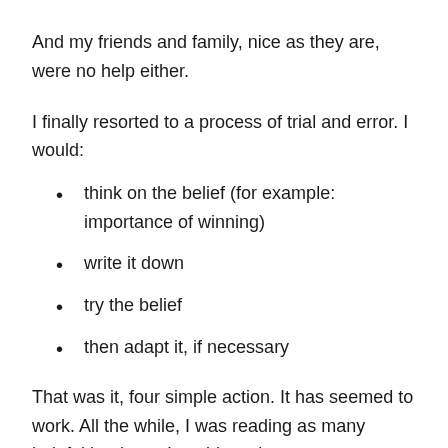And my friends and family, nice as they are, were no help either.
I finally resorted to a process of trial and error. I would:
think on the belief (for example: importance of winning)
write it down
try the belief
then adapt it, if necessary
That was it, four simple action. It has seemed to work. All the while, I was reading as many helpful books as I could, such as: